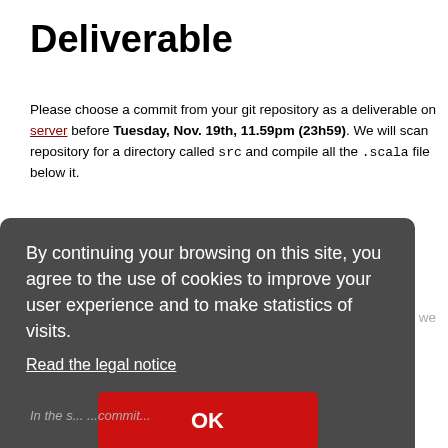Deliverable
Please choose a commit from your git repository as a deliverable on the server before Tuesday, Nov. 19th, 11.59pm (23h59). We will scan the repository for a directory called src and compile all the .scala files below it.
1)
Note that this is simply a recommendation on the errors we want you to avoid. We are checking ty...
In the s...
By continuing your browsing on this site, you agree to the use of cookies to improve your user experience and to make statistics of visits. Read the legal notice OK